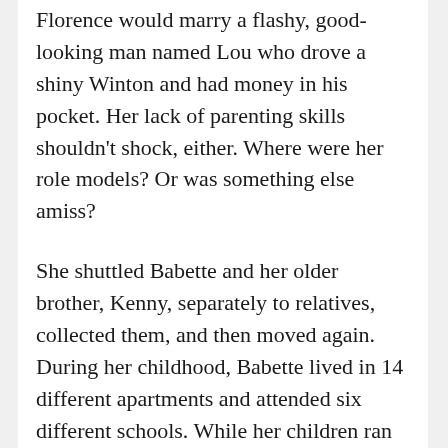Florence would marry a flashy, good-looking man named Lou who drove a shiny Winton and had money in his pocket. Her lack of parenting skills shouldn't shock, either. Where were her role models? Or was something else amiss?
She shuttled Babette and her older brother, Kenny, separately to relatives, collected them, and then moved again. During her childhood, Babette lived in 14 different apartments and attended six different schools. While her children ran the streets themselves, Florence worked, dated, and flirted with men, including boys Babette's age.
“I had to beg her to sign my report cards,” Babette tells me. “I used to skip school, go to the movies.